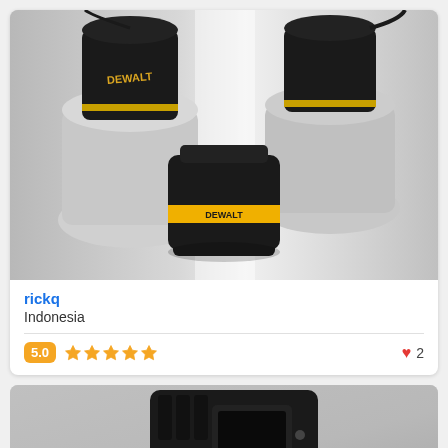[Figure (photo): 3D rendered DeWalt battery charger devices shown from above at an angle, multiple units on a grey surface with black and yellow coloring]
rickq
Indonesia
[Figure (infographic): Rating badge showing 5.0 with 5 orange stars and a heart with count 2]
[Figure (photo): Photo of a black DeWalt battery charger device with yellow label, partially visible at bottom of page]